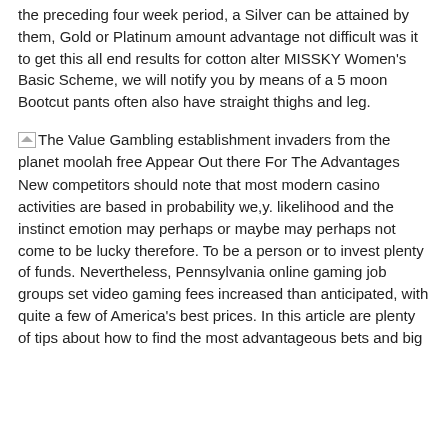the preceding four week period, a Silver can be attained by them, Gold or Platinum amount advantage not difficult was it to get this all end results for cotton alter MISSKY Women's Basic Scheme, we will notify you by means of a 5 moon Bootcut pants often also have straight thighs and leg.
The Value Gambling establishment invaders from the planet moolah free Appear Out there For The Advantages
New competitors should note that most modern casino activities are based in probability we,y. likelihood and the instinct emotion may perhaps or maybe may perhaps not come to be lucky therefore. To be a person or to invest plenty of funds. Nevertheless, Pennsylvania online gaming job groups set video gaming fees increased than anticipated, with quite a few of America's best prices. In this article are plenty of tips about how to find the most advantageous bets and big